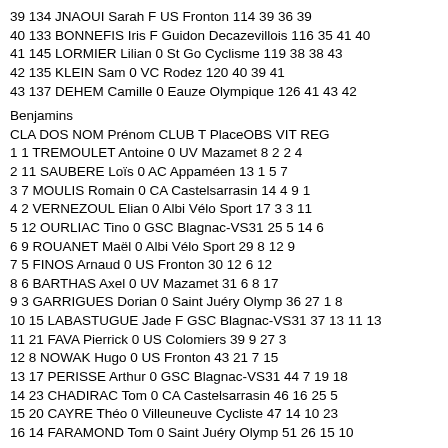39 134 JNAOUI Sarah F US Fronton 114 39 36 39
40 133 BONNEFIS Iris F Guidon Decazevillois 116 35 41 40
41 145 LORMIER Lilian 0 St Go Cyclisme 119 38 38 43
42 135 KLEIN Sam 0 VC Rodez 120 40 39 41
43 137 DEHEM Camille 0 Eauze Olympique 126 41 43 42
Benjamins
CLA DOS NOM Prénom CLUB T PlaceOBS VIT REG
1 1 TREMOULET Antoine 0 UV Mazamet 8 2 2 4
2 11 SAUBERE Loïs 0 AC Appaméen 13 1 5 7
3 7 MOULIS Romain 0 CA Castelsarrasin 14 4 9 1
4 2 VERNEZOUL Elian 0 Albi Vélo Sport 17 3 3 11
5 12 OURLIAC Tino 0 GSC Blagnac-VS31 25 5 14 6
6 9 ROUANET Maël 0 Albi Vélo Sport 29 8 12 9
7 5 FINOS Arnaud 0 US Fronton 30 12 6 12
8 6 BARTHAS Axel 0 UV Mazamet 31 6 8 17
9 3 GARRIGUES Dorian 0 Saint Juéry Olymp 36 27 1 8
10 15 LABASTUGUE Jade F GSC Blagnac-VS31 37 13 11 13
11 21 FAVA Pierrick 0 US Colomiers 39 9 27 3
12 8 NOWAK Hugo 0 US Fronton 43 21 7 15
13 17 PERISSE Arthur 0 GSC Blagnac-VS31 44 7 19 18
14 23 CHADIRAC Tom 0 CA Castelsarrasin 46 16 25 5
15 20 CAYRE Théo 0 Villeuneuve Cycliste 47 14 10 23
16 14 FARAMOND Tom 0 Saint Juéry Olymp 51 26 15 10